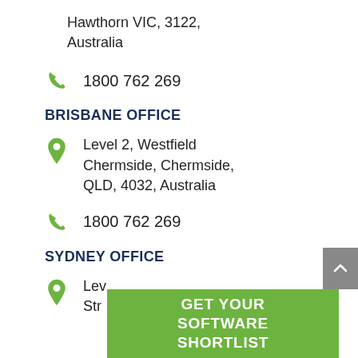Hawthorn VIC, 3122, Australia
1800 762 269
BRISBANE OFFICE
Level 2, Westfield Chermside, Chermside, QLD, 4032, Australia
1800 762 269
SYDNEY OFFICE
Lev... Str...
[Figure (other): Green CTA banner reading GET YOUR SOFTWARE SHORTLIST]